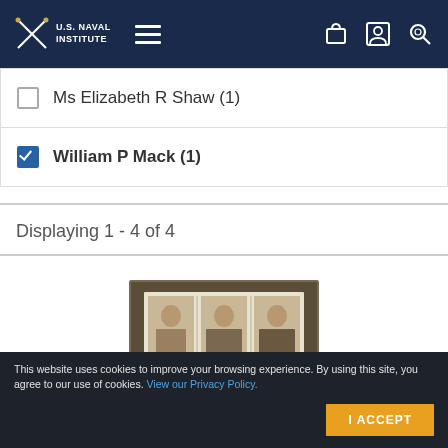U.S. Naval Institute
Ms Elizabeth R Shaw (1)
William P Mack (1)
Displaying 1 - 4 of 4
[Figure (photo): Book cover image showing three historical portrait paintings of military figures in 18th century dress]
This website uses cookies to improve your browsing experience. By using this site, you agree to our use of cookies. View our Privacy Policy.